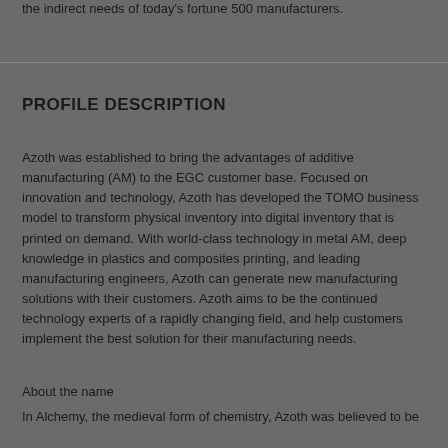the indirect needs of today's fortune 500 manufacturers.
PROFILE DESCRIPTION
Azoth was established to bring the advantages of additive manufacturing (AM) to the EGC customer base. Focused on innovation and technology, Azoth has developed the TOMO business model to transform physical inventory into digital inventory that is printed on demand. With world-class technology in metal AM, deep knowledge in plastics and composites printing, and leading manufacturing engineers, Azoth can generate new manufacturing solutions with their customers. Azoth aims to be the continued technology experts of a rapidly changing field, and help customers implement the best solution for their manufacturing needs.
About the name
In Alchemy, the medieval form of chemistry, Azoth was believed to be